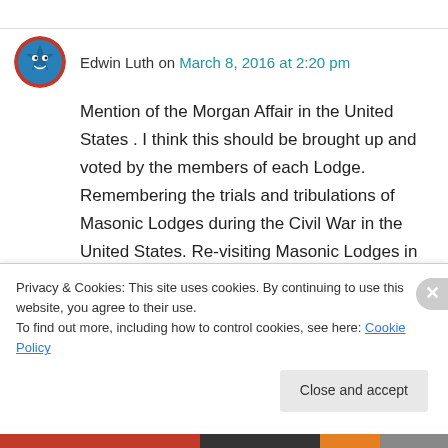Edwin Luth on March 8, 2016 at 2:20 pm
Mention of the Morgan Affair in the United States . I think this should be brought up and voted by the members of each Lodge. Remembering the trials and tribulations of Masonic Lodges during the Civil War in the United States. Re-visiting Masonic Lodges in the State of Colorado during that period.
★ Like
Privacy & Cookies: This site uses cookies. By continuing to use this website, you agree to their use.
To find out more, including how to control cookies, see here: Cookie Policy
Close and accept